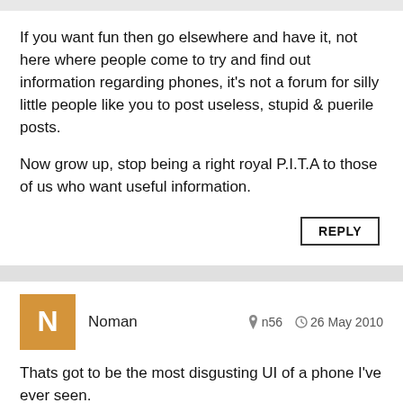If you want fun then go elsewhere and have it, not here where people come to try and find out information regarding phones, it's not a forum for silly little people like you to post useless, stupid & puerile posts.
Now grow up, stop being a right royal P.I.T.A to those of us who want useful information.
Noman
n56  26 May 2010
Thats got to be the most disgusting UI of a phone I've ever seen.
Why didn't they just put Android 2.2 on it and then it would have been worth at least £150?